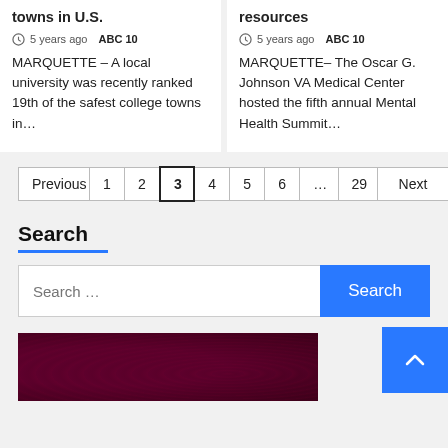towns in U.S.
5 years ago  ABC 10
MARQUETTE – A local university was recently ranked 19th of the safest college towns in…
resources
5 years ago  ABC 10
MARQUETTE– The Oscar G. Johnson VA Medical Center hosted the fifth annual Mental Health Summit…
Previous | 1 | 2 | 3 | 4 | 5 | 6 | … | 29 | Next
Search
Search …   [Search button]
[Figure (photo): Dark maroon/burgundy textured background image at bottom of page]